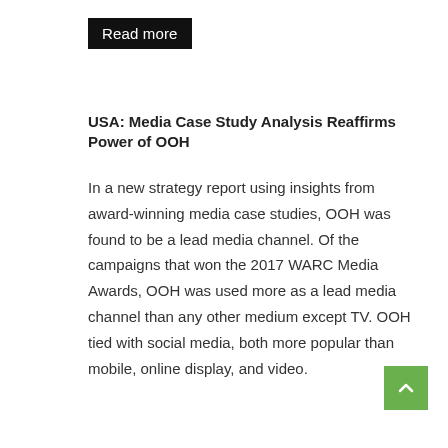Read more
USA: Media Case Study Analysis Reaffirms Power of OOH
In a new strategy report using insights from award-winning media case studies, OOH was found to be a lead media channel. Of the campaigns that won the 2017 WARC Media Awards, OOH was used more as a lead media channel than any other medium except TV. OOH tied with social media, both more popular than mobile, online display, and video.